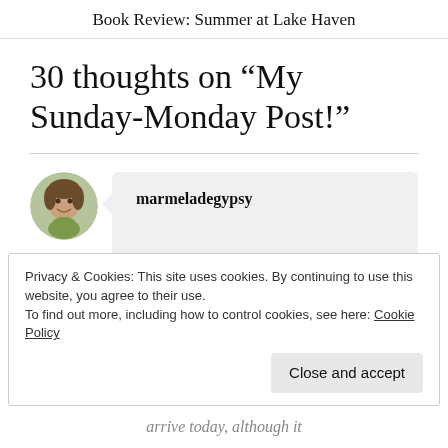Book Review: Summer at Lake Haven
30 thoughts on “My Sunday-Monday Post!”
marmeladegypsy
Privacy & Cookies: This site uses cookies. By continuing to use this website, you agree to their use.
To find out more, including how to control cookies, see here: Cookie Policy
Close and accept
arrive today, although it